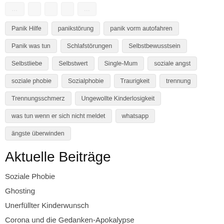Panik Hilfe
panikstörung
panik vorm autofahren
Panik was tun
Schlafstörungen
Selbstbewusstsein
Selbstliebe
Selbstwert
Single-Mum
soziale angst
soziale phobie
Sozialphobie
Traurigkeit
trennung
Trennungsschmerz
Ungewollte Kinderlosigkeit
was tun wenn er sich nicht meldet
whatsapp
ängste überwinden
Aktuelle Beiträge
Soziale Phobie
Ghosting
Unerfüllter Kinderwunsch
Corona und die Gedanken-Apokalypse
Er meldet sich nicht